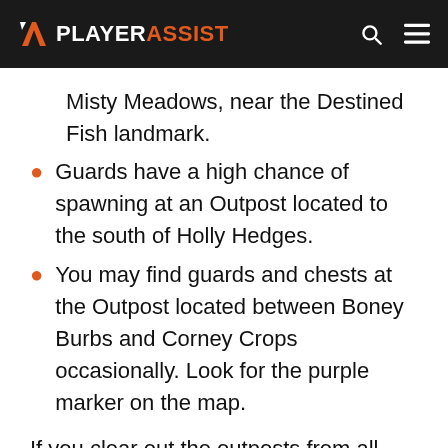PLAYERASSIST
Misty Meadows, near the Destined Fish landmark.
Guards have a high chance of spawning at an Outpost located to the south of Holly Hedges.
You may find guards and chests at the Outpost located between Boney Burbs and Corney Crops occasionally. Look for the purple marker on the map.
If you clear out the outposts from all guards and loot all chests, you should find at least one Railgun.